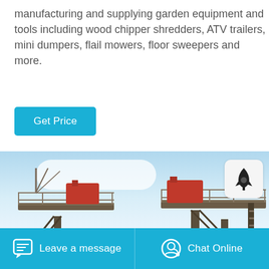manufacturing and supplying garden equipment and tools including wood chipper shredders, ATV trailers, mini dumpers, flail mowers, floor sweepers and more.
Get Price
[Figure (photo): Industrial machinery / crushing plant equipment with conveyor belts and elevated platforms against a blue sky background]
Leave a message
Chat Online